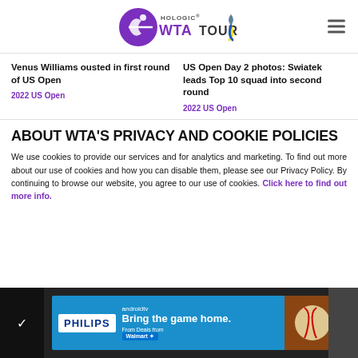[Figure (logo): Hologic WTA Tour logo with purple archer icon and yellow-blue ribbon, plus hamburger menu icon on the right]
Venus Williams ousted in first round of US Open
US Open Day 2 photos: Swiatek leads Top 10 squad into second round
2022 US Open
2022 US Open
ABOUT WTA'S PRIVACY AND COOKIE POLICIES
We use cookies to provide our services and for analytics and marketing. To find out more about our use of cookies and how you can disable them, please see our Privacy Policy. By continuing to browse our website, you agree to our use of cookies. Click here to find out more info.
[Figure (screenshot): Philips Android TV advertisement banner: 'Bring the game home.' with Walmart branding and baseball image, on dark background]